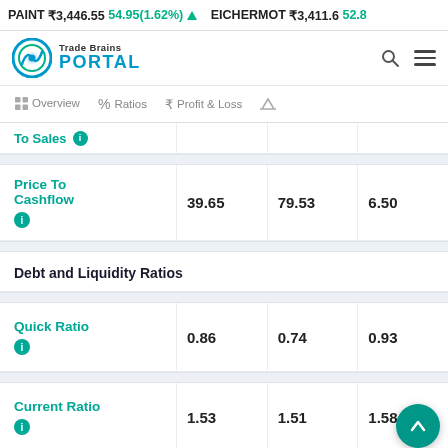PAINT ₹3,446.55 54.95(1.62%) ▲  EICHERMOT ₹3,411.6 52.8
[Figure (logo): Trade Brains Portal logo with teal circular chart icon]
Overview  %  Ratios  ₹  Profit & Loss  ⚖
| Metric | Value1 | Value2 | Value3 |
| --- | --- | --- | --- |
| To Sales ℹ |  |  |  |
| Price To Cashflow ℹ | 39.65 | 79.53 | 6.50 |
| Debt and Liquidity Ratios |  |  |  |
| Quick Ratio ℹ | 0.86 | 0.74 | 0.93 |
| Current Ratio ℹ | 1.53 | 1.51 | 1.58 |